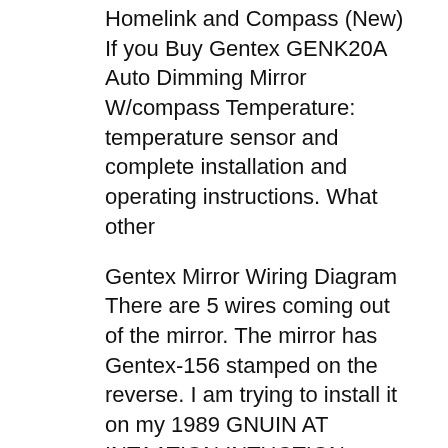Homelink and Compass (New) If you Buy Gentex GENK20A Auto Dimming Mirror W/compass Temperature: temperature sensor and complete installation and operating instructions. What other
Gentex Mirror Wiring Diagram There are 5 wires coming out of the mirror. The mirror has Gentex-156 stamped on the reverse. I am trying to install it on my 1989 GNUIN AT INTAATION INTUCTION CITION A C I 1 Manual, Installation Instruction HOMELINKB® AND THE HOMELINK HOUSEB® ARE REGISTERED TRADEMARKS OF GENTEX